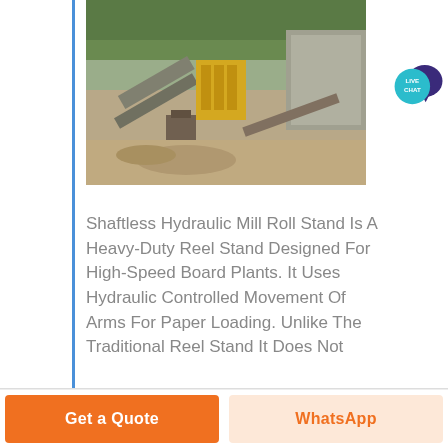[Figure (photo): Industrial mining/crushing plant equipment showing conveyor belts, aggregates processing machinery, and construction site with trees and concrete structures in background]
Shaftless Hydraulic Mill Roll Stand Is A Heavy-Duty Reel Stand Designed For High-Speed Board Plants. It Uses Hydraulic Controlled Movement Of Arms For Paper Loading. Unlike The Traditional Reel Stand It Does Not
Get a Quote | WhatsApp